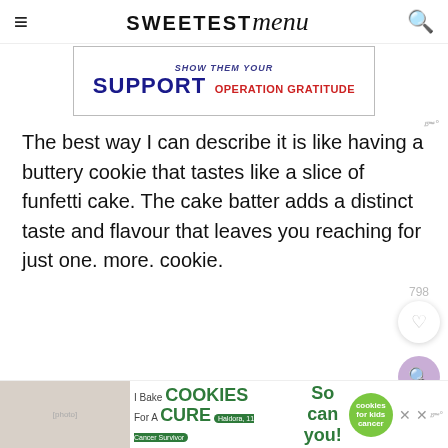SWEETEST menu
[Figure (advertisement): Operation Gratitude ad banner: 'SHOW THEM YOUR SUPPORT OPERATION GRATITUDE' with US flag graphic, in a bordered box]
The best way I can describe it is like having a buttery cookie that tastes like a slice of funfetti cake. The cake batter adds a distinct taste and flavour that leaves you reaching for just one. more. cookie.
[Figure (infographic): Save/heart widget showing 798 saves and a heart icon in a circle]
[Figure (infographic): Purple search button circle]
[Figure (advertisement): Bottom banner ad: I Bake COOKIES For A CURE with Haldora, So can you! cookies for kids cancer circle, with close X button]